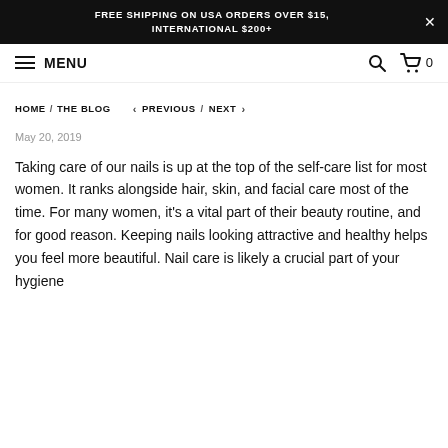FREE SHIPPING ON USA ORDERS OVER $15, INTERNATIONAL $200+
MENU
HOME / THE BLOG   < PREVIOUS / NEXT >
May 20, 2019
Taking care of our nails is up at the top of the self-care list for most women. It ranks alongside hair, skin, and facial care most of the time. For many women, it's a vital part of their beauty routine, and for good reason. Keeping nails looking attractive and healthy helps you feel more beautiful. Nail care is likely a crucial part of your hygiene